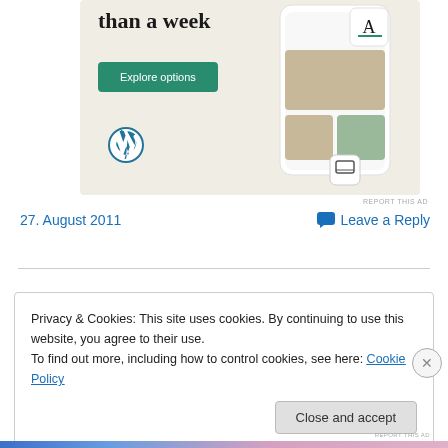[Figure (illustration): WordPress advertisement banner showing 'than a week' headline, Explore options green button, WordPress logo, and phone mockup with food delivery app screenshots]
REPORT THIS AD
27. August 2011
💬 Leave a Reply
Privacy & Cookies: This site uses cookies. By continuing to use this website, you agree to their use.
To find out more, including how to control cookies, see here: Cookie Policy
Close and accept